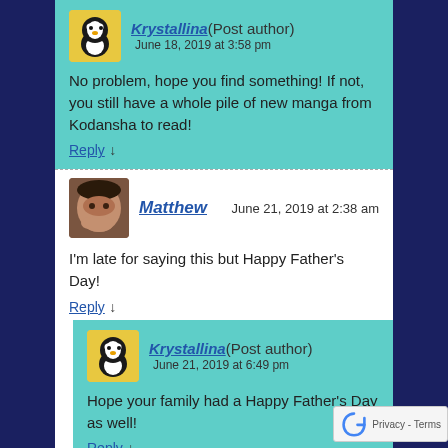Krystallina (Post author) June 18, 2019 at 3:58 pm — No problem, hope you find something! If not, you still have a whole pile of new manga from Kodansha to read! Reply ↓
Matthew — June 21, 2019 at 2:38 am — I'm late for saying this but Happy Father's Day! Reply ↓
Krystallina (Post author) June 21, 2019 at 6:49 pm — Hope your family had a Happy Father's Day as well! Reply ↓